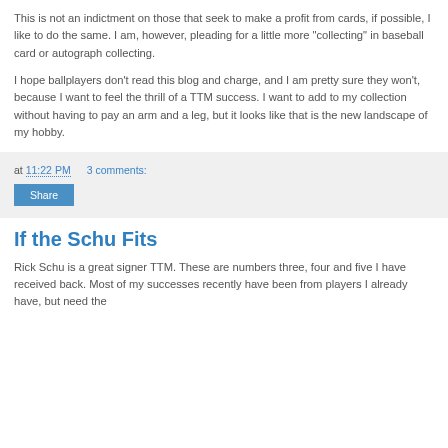This is not an indictment on those that seek to make a profit from cards, if possible, I like to do the same. I am, however, pleading for a little more "collecting" in baseball card or autograph collecting.
I hope ballplayers don't read this blog and charge, and I am pretty sure they won't, because I want to feel the thrill of a TTM success. I want to add to my collection without having to pay an arm and a leg, but it looks like that is the new landscape of my hobby.
at 11:22 PM   3 comments:
Share
If the Schu Fits
Rick Schu is a great signer TTM. These are numbers three, four and five I have received back. Most of my successes recently have been from players I already have, but need the